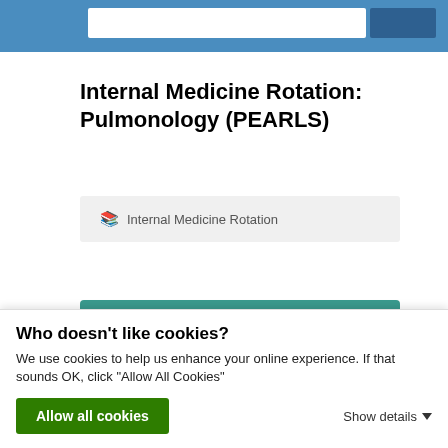Internal Medicine Rotation: Pulmonology (PEARLS) — site header bar
Internal Medicine Rotation: Pulmonology (PEARLS)
Internal Medicine Rotation
You have completed internal medicine EOR topics:
Who doesn't like cookies?
We use cookies to help us enhance your online experience. If that sounds OK, click "Allow All Cookies"
Allow all cookies
Show details